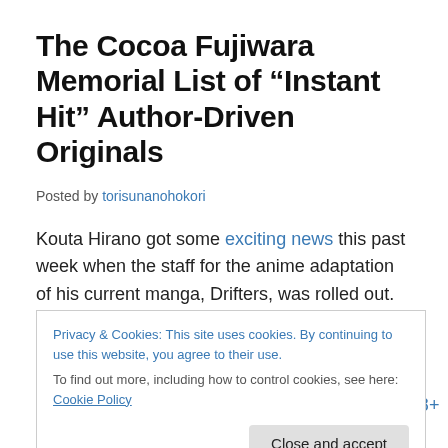The Cocoa Fujiwara Memorial List of “Instant Hit” Author-Driven Originals
Posted by torisunanohokori
Kouta Hirano got some exciting news this past week when the staff for the anime adaptation of his current manga, Drifters, was rolled out. Reading about that news reminded me of a list Hirano earned his place on with that
Privacy & Cookies: This site uses cookies. By continuing to use this website, you agree to their use. To find out more, including how to control cookies, see here: Cookie Policy
that point. Takako Shimura spent years writing 18+ manga